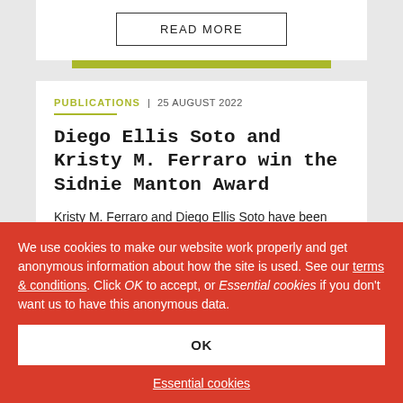READ MORE
PUBLICATIONS | 25 AUGUST 2022
Diego Ellis Soto and Kristy M. Ferraro win the Sidnie Manton Award
Kristy M. Ferraro and Diego Ellis Soto have been awarded the Sidnie Manton
We use cookies to make our website work properly and get anonymous information about how the site is used. See our terms & conditions. Click OK to accept, or Essential cookies if you don't want us to have this anonymous data.
OK
Essential cookies